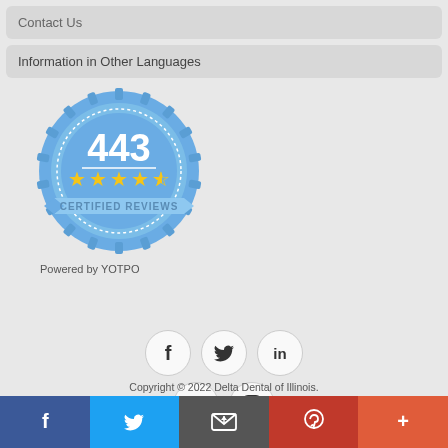Contact Us
Information in Other Languages
[Figure (other): YOTPO Certified Reviews badge: blue gear/seal with '443' in large text, 4.5 gold stars, and 'CERTIFIED REVIEWS' ribbon banner]
Powered by YOTPO
[Figure (infographic): Social media icon circles: Facebook (f), Twitter (bird), LinkedIn (in), YouTube, Instagram]
Copyright © 2022 Delta Dental of Illinois. All Rights Reserved.
[Figure (infographic): Bottom social share bar with Facebook, Twitter, Email, Pinterest, and More (+) buttons]